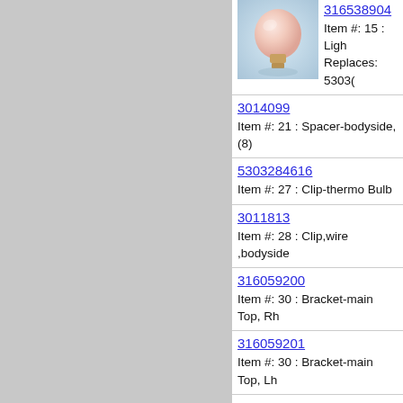[Figure (photo): Photo of a frosted incandescent light bulb on a light blue background]
316538904
Item #: 15 : Ligh
Replaces: 5303(
3014099
Item #: 21 : Spacer-bodyside, (8)
5303284616
Item #: 27 : Clip-thermo Bulb
3011813
Item #: 28 : Clip,wire ,bodyside
316059200
Item #: 30 : Bracket-main Top, Rh
316059201
Item #: 30 : Bracket-main Top, Lh
316055601
Item #: 33 : Shield-spark Module
3018607
Item #: 34 : Cover Plate
316542102
Item #: 35 : Gasket,flue
Replaces: 316116600
5303273108
Item #: 3(